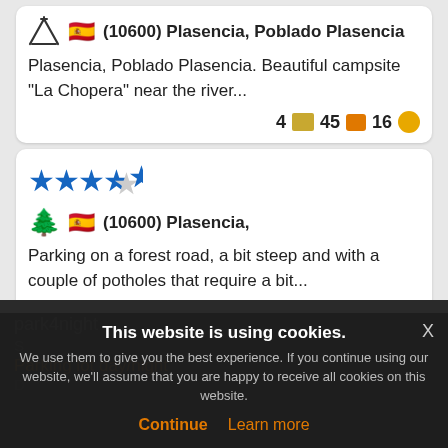⛺ 🇪🇸 (10600) Plasencia, Poblado Plasencia
Plasencia, Poblado Plasencia. Beautiful campsite "La Chopera" near the river...
4 📷 45 💬 16 😊
★★★★½ 🌲 🇪🇸 (10600) Plasencia,
Parking on a forest road, a bit steep and with a couple of potholes that require a bit...
🖼 2 💬 😐
park4night
This website is using cookies.
We use them to give you the best experience. If you continue using our website, we'll assume that you are happy to receive all cookies on this website.
Continue  Learn more